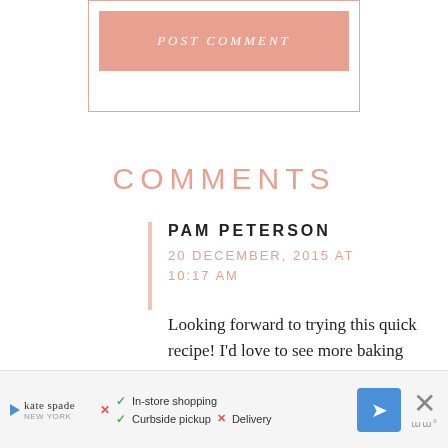[Figure (other): POST COMMENT button inside a bordered box with salmon/pink background button and italic uppercase white text]
COMMENTS
PAM PETERSON
20 DECEMBER, 2015 AT 10:17 AM
Looking forward to trying this quick recipe! I'd love to see more baking and kid related videos. Hoping to
[Figure (other): Advertisement banner: Kate Spade ad with in-store shopping, curbside pickup, delivery options and navigation icon]